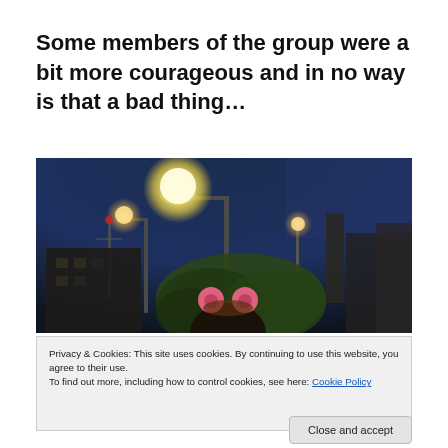Some members of the group were a bit more courageous and in no way is that a bad thing…
[Figure (photo): Nighttime outdoor photo showing a bright street lamp glowing against a dark blue sky, with trees, buildings, and a figure wearing pink pig ears in the foreground.]
Privacy & Cookies: This site uses cookies. By continuing to use this website, you agree to their use.
To find out more, including how to control cookies, see here: Cookie Policy
Close and accept